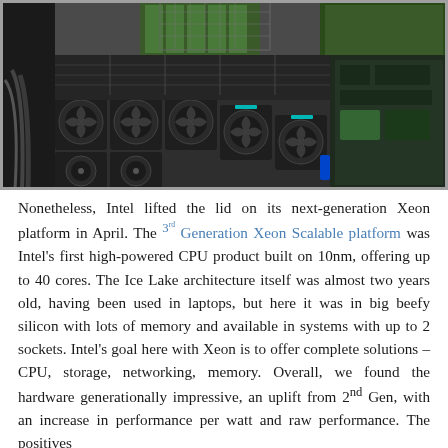[Figure (photo): Interior of a 2U server chassis showing multiple cooling fans with blue LED indicators, CPU heatsinks, memory modules (green PCBs), and various components viewed from above with the lid removed.]
Nonetheless, Intel lifted the lid on its next-generation Xeon platform in April. The 3rd Generation Xeon Scalable platform was Intel's first high-powered CPU product built on 10nm, offering up to 40 cores. The Ice Lake architecture itself was almost two years old, having been used in laptops, but here it was in big beefy silicon with lots of memory and available in systems with up to 2 sockets. Intel's goal here with Xeon is to offer complete solutions – CPU, storage, networking, memory. Overall, we found the hardware generationally impressive, an uplift from 2nd Gen, with an increase in performance per watt and raw performance. The positives